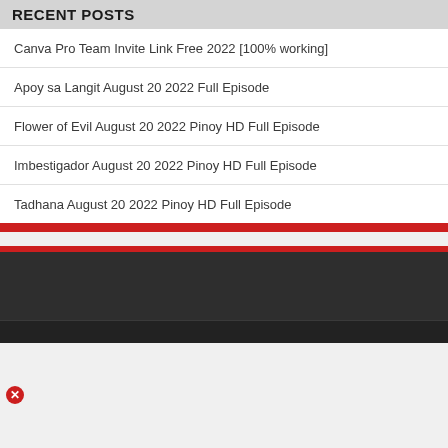RECENT POSTS
Canva Pro Team Invite Link Free 2022 [100% working]
Apoy sa Langit August 20 2022 Full Episode
Flower of Evil August 20 2022 Pinoy HD Full Episode
Imbestigador August 20 2022 Pinoy HD Full Episode
Tadhana August 20 2022 Pinoy HD Full Episode